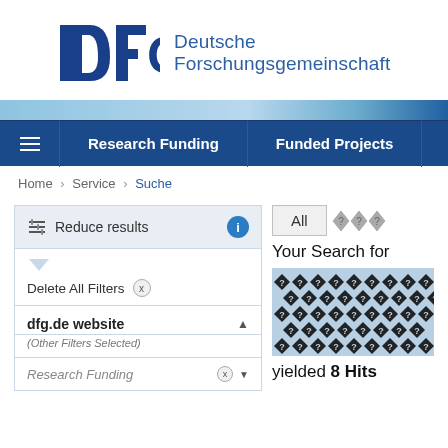[Figure (logo): DFG - Deutsche Forschungsgemeinschaft logo with blue DFG letters and full name]
[Figure (screenshot): Navigation bar with hamburger menu, Research Funding and Funded Projects tabs on dark blue background]
Home › Service › Suche
Reduce results
Delete All Filters x
dfg.de website (Other Filters Selected)
Research Funding x
All
Your Search for
[Figure (other): Black and blue diamond/question mark pattern image]
yielded 8 Hits